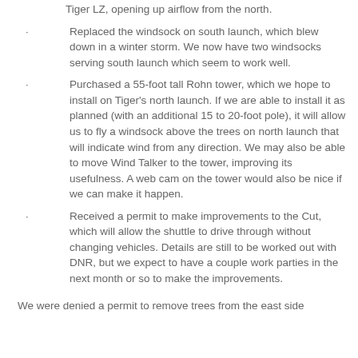Tiger LZ, opening up airflow from the north.
Replaced the windsock on south launch, which blew down in a winter storm.  We now have two windsocks serving south launch which seem to work well.
Purchased a 55-foot tall Rohn tower, which we hope to install on Tiger’s north launch.  If we are able to install it as planned (with an additional 15 to 20-foot pole), it will allow us to fly a windsock above the trees on north launch that will indicate wind from any direction.  We may also be able to move Wind Talker to the tower, improving its usefulness.  A web cam on the tower would also be nice if we can make it happen.
Received a permit to make improvements to the Cut, which will allow the shuttle to drive through without changing vehicles.  Details are still to be worked out with DNR, but we expect to have a couple work parties in the next month or so to make the improvements.
We were denied a permit to remove trees from the east side